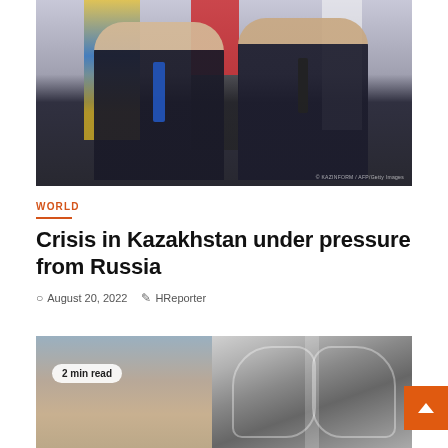[Figure (photo): Two men in dark suits shaking hands in front of national flags (Kazakhstan flag with yellow sun and eagle, Kyrgyzstan flag, and white flag). Both men are smiling. A watermark appears in the bottom right corner.]
WORLD
Crisis in Kazakhstan under pressure from Russia
August 20, 2022   HReporter
[Figure (photo): Left: A person from behind with dark hair embracing someone, blurred background. Badge overlaid reading '2 min read'. Right: Black and white chest X-ray showing ribcage and lungs.]